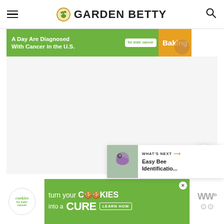Garden Betty
[Figure (screenshot): Partial advertisement banner: 'A Day Are Diagnosed With Cancer in the U.S.' on green background, 'for kids cancer' badge, 'Baking' text on orange/right side with cookie image]
[Figure (screenshot): Large empty/gray content area below the advertisement banner]
[Figure (other): Share button: circular white button with share/plus icon]
[Figure (screenshot): What's Next panel: thumbnail of a bee on a flower, label 'WHAT'S NEXT →', title 'Easy Bee Identificatio...']
[Figure (screenshot): Bottom advertisement: Cookies for Kids' Cancer - 'turn your COOKIES into a CURE LEARN HOW' on green background, with WW logo on right side and close button]